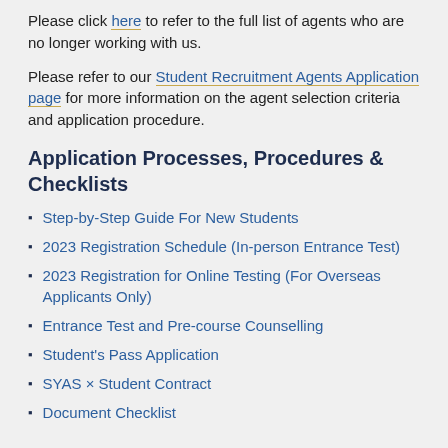Please click here to refer to the full list of agents who are no longer working with us.
Please refer to our Student Recruitment Agents Application page for more information on the agent selection criteria and application procedure.
Application Processes, Procedures & Checklists
Step-by-Step Guide For New Students
2023 Registration Schedule (In-person Entrance Test)
2023 Registration for Online Testing (For Overseas Applicants Only)
Entrance Test and Pre-course Counselling
Student's Pass Application
SYAS × Student Contract
Document Checklist